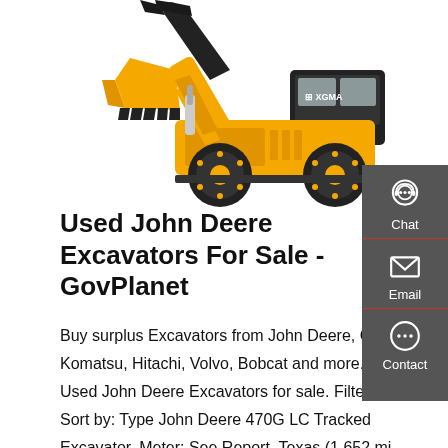[Figure (photo): Yellow XGMA wheel loader / front-end loader on white background, viewed from the front-left side with bucket raised]
Used John Deere Excavators For Sale - GovPlanet
Buy surplus Excavators from John Deere, Cat, Komatsu, Hitachi, Volvo, Bobcat and more. Used John Deere Excavators for sale. Filter. Sort by: Type John Deere 470G LC Tracked Excavator. Meter: See Report. Texas (1,652 mi away) Online Auction. US $33,000. Dec 2. Watching. Add to Watch List. Compare.